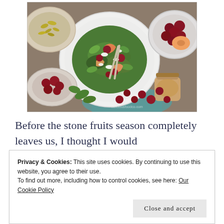[Figure (photo): Overhead food photography showing a salad plate with greens, cherries, peach slices, and white cheese crumbles on a large white plate, surrounded by bowls of cherries, a small bowl of seeds/nuts, a jar of dressing, and scattered cherries on a teal cloth and stone surface.]
Before the stone fruits season completely leaves us, I thought I would
Privacy & Cookies: This site uses cookies. By continuing to use this website, you agree to their use.
To find out more, including how to control cookies, see here: Our Cookie Policy
Close and accept